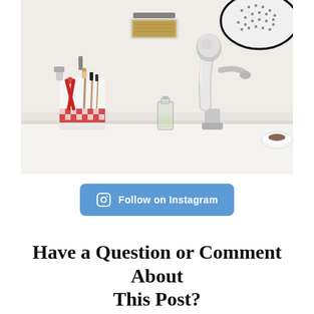[Figure (photo): Kitchen sink area with chrome pull-out faucet, a white cup holding red scissors and paint brushes with red checkered pattern, a soap dish with a sponge mounted on the wall, a small glass bottle on the counter, a colander hanging, and a small bowl to the right.]
Follow on Instagram
Have a Question or Comment About This Post?